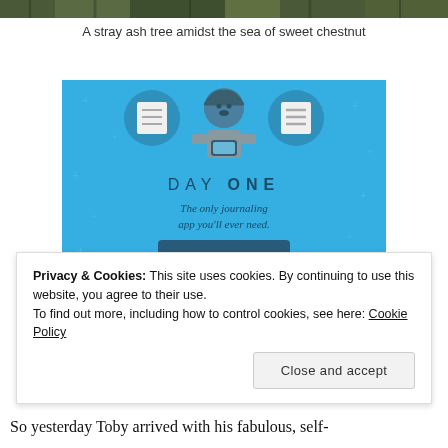[Figure (photo): Top strip of a nature/tree photo, cropped at top of page]
A stray ash tree amidst the sea of sweet chestnut
[Figure (illustration): Day One journaling app advertisement with blue background, illustration of a person using a phone with notebook icons, text 'DAY ONE - The only journaling app you'll ever need.' and a 'Get the app' button]
Privacy & Cookies: This site uses cookies. By continuing to use this website, you agree to their use.
To find out more, including how to control cookies, see here: Cookie Policy
Close and accept
So yesterday Toby arrived with his fabulous, self-